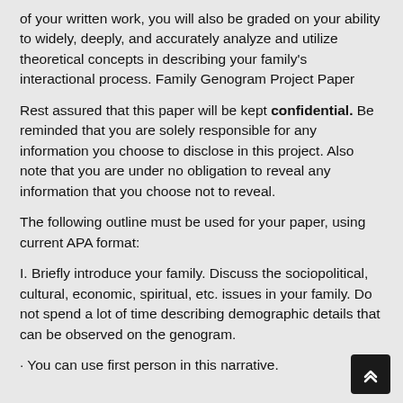of your written work, you will also be graded on your ability to widely, deeply, and accurately analyze and utilize theoretical concepts in describing your family's interactional process. Family Genogram Project Paper
Rest assured that this paper will be kept confidential. Be reminded that you are solely responsible for any information you choose to disclose in this project. Also note that you are under no obligation to reveal any information that you choose not to reveal.
The following outline must be used for your paper, using current APA format:
I. Briefly introduce your family. Discuss the sociopolitical, cultural, economic, spiritual, etc. issues in your family. Do not spend a lot of time describing demographic details that can be observed on the genogram.
· You can use first person in this narrative.